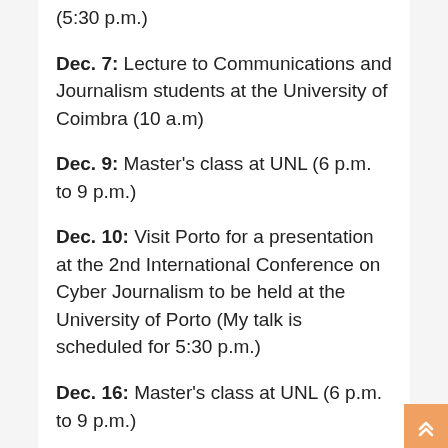(5:30 p.m.)
Dec. 7: Lecture to Communications and Journalism students at the University of Coimbra (10 a.m)
Dec. 9: Master's class at UNL (6 p.m. to 9 p.m.)
Dec. 10: Visit Porto for a presentation at the 2nd International Conference on Cyber Journalism to be held at the University of Porto (My talk is scheduled for 5:30 p.m.)
Dec. 16: Master's class at UNL (6 p.m. to 9 p.m.)